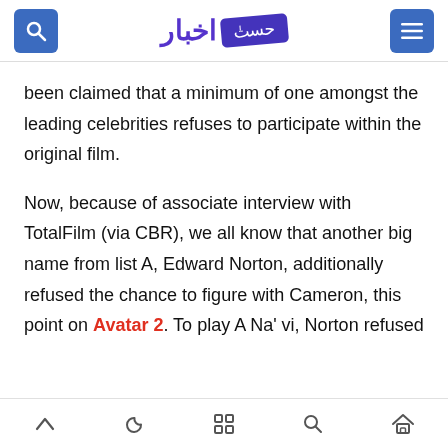اخبار [logo stamp: حسن]
been claimed that a minimum of one amongst the leading celebrities refuses to participate within the original film.
Now, because of associate interview with TotalFilm (via CBR), we all know that another big name from list A, Edward Norton, additionally refused the chance to figure with Cameron, this point on Avatar 2. To play A Na' vi, Norton refused
Navigation icons: up, moon, grid, search, home